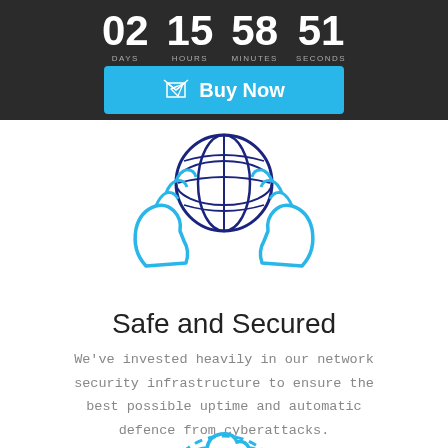02 DAYS 15 HOURS 58 MINUTES 51 SECONDS
[Figure (infographic): Blue 'Buy Now' button with paper plane icon on dark header background]
[Figure (illustration): Blue line icon of two hands cupping a globe/network sphere]
Safe and Secured
We've invested heavily in our network security infrastructure to ensure the best possible uptime and automatic defence from cyberattacks.
[Figure (illustration): Partial blue dashed-circle cloud icon visible at bottom of page]